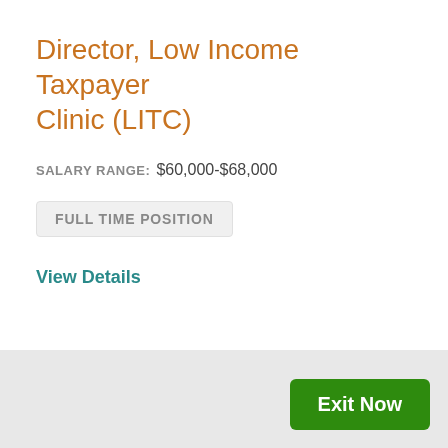Director, Low Income Taxpayer Clinic (LITC)
SALARY RANGE: $60,000-$68,000
FULL TIME POSITION
View Details
Exit Now